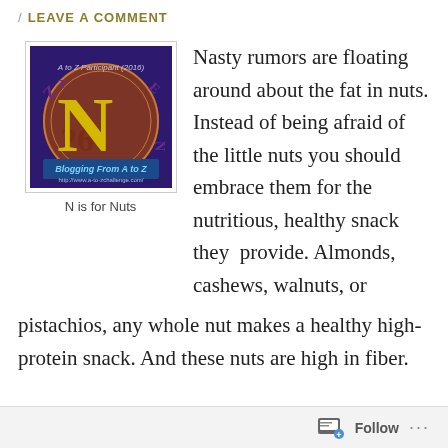/ LEAVE A COMMENT
[Figure (illustration): A to Z Participant 2016 badge showing the letter N for Nuts, Blogging From A to Z, http://www.a-to-zchallenge.com/]
N is for Nuts
Nasty rumors are floating around about the fat in nuts.  Instead of being afraid of the little nuts you should embrace them for the nutritious, healthy snack they  provide. Almonds, cashews, walnuts, or pistachios, any whole nut makes a healthy high-protein snack. And these nuts are high in fiber.
Follow ...